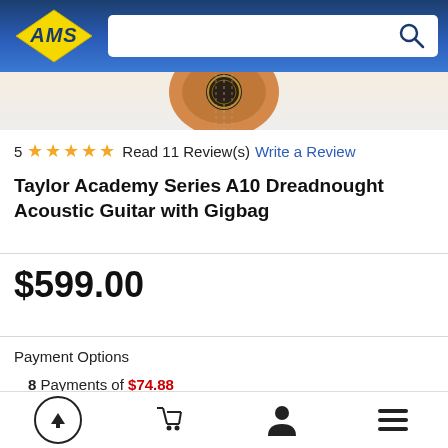AMS - American Musical Supply
[Figure (photo): Partial view of acoustic guitar body showing wooden soundhole]
5 ★★★★★ Read 11 Review(s) Write a Review
Taylor Academy Series A10 Dreadnought Acoustic Guitar with Gigbag
$599.00
Payment Options
8 Payments of $74.88
0% Interest with AMS EZ-Pay
Navigation: scroll-to-top, cart, account, menu